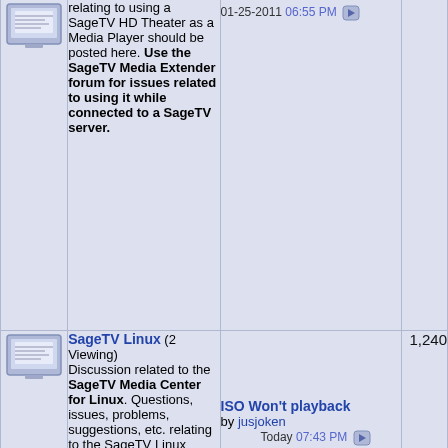| Icon | Forum | Last Post | Count |
| --- | --- | --- | --- |
| [icon] | relating to using a SageTV HD Theater as a Media Player should be posted here. Use the SageTV Media Extender forum for issues related to using it while connected to a SageTV server. | 01-25-2011 06:55 PM |  |
| [icon] | SageTV Linux (2 Viewing) Discussion related to the SageTV Media Center for Linux. Questions, issues, problems, suggestions, etc. relating to the SageTV Linux should be posted here. Sub-Forums: SageTV for unRAID/Docker | ISO Won't playback by jusjoken Today 07:43 PM | 1,240 |
| [icon] | SageTV Mac Edition (2 Viewing) Discussion related to the SageTV Media Center for Mac edition. Questions, issues, problems, suggestions, etc. relating to the | Channels DVR by sandor 02-08-2017 06:26 PM | 229 |